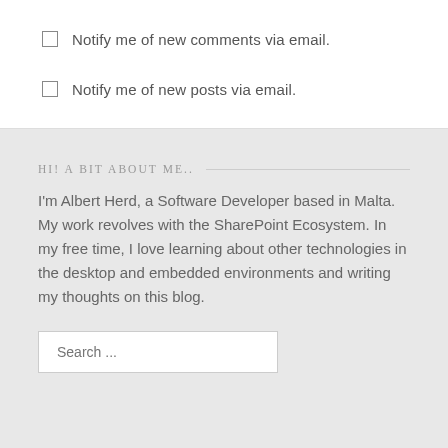Notify me of new comments via email.
Notify me of new posts via email.
HI! A BIT ABOUT ME..
I'm Albert Herd, a Software Developer based in Malta. My work revolves with the SharePoint Ecosystem. In my free time, I love learning about other technologies in the desktop and embedded environments and writing my thoughts on this blog.
Search ...